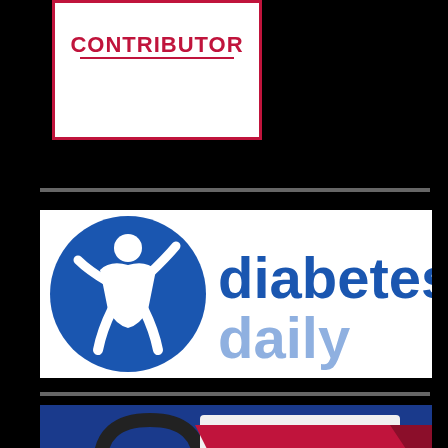[Figure (logo): CONTRIBUTOR badge/logo with red border on white background, text CONTRIBUTOR in red with underline]
[Figure (logo): Diabetes Daily logo: blue circle with white figure icon, blue text 'diabetes' and lighter blue text 'daily' on white background]
[Figure (illustration): Featured On badge with dark blue background, red ribbon banner saying 'Featured On', headphones icon, and partial circular logo element]